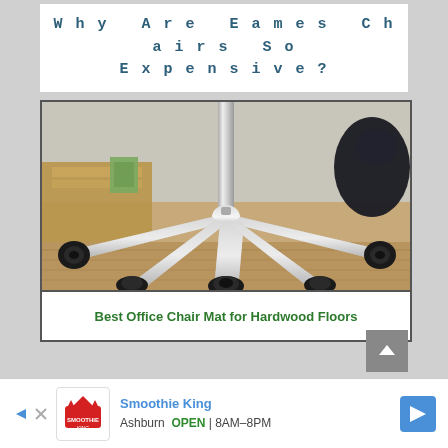Why Are Eames Chairs So Expensive?
[Figure (photo): Close-up photo of the chrome five-star base and casters of an office chair on a hardwood floor, with a text overlay reading 'Best Office Chair Mat for Hardwood Floors']
Best Office Chair Mat for Hardwood Floors
Smoothie King — Ashburn OPEN 8AM–8PM (advertisement banner)